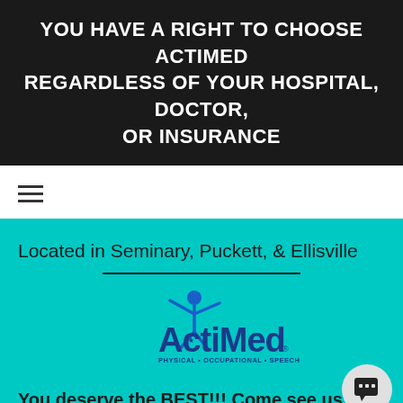YOU HAVE A RIGHT TO CHOOSE ACTIMED REGARDLESS OF YOUR HOSPITAL, DOCTOR, OR INSURANCE
[Figure (other): Hamburger/navigation menu icon with three horizontal lines]
Located in Seminary, Puckett, & Ellisville
[Figure (logo): ActiMed logo on teal background — stylized figure with arms raised, text 'ActiMed' in blue with star, tagline 'PHYSICAL • OCCUPATIONAL • SPEECH' with registered trademark symbol]
You deserve the BEST!!! Come see us at